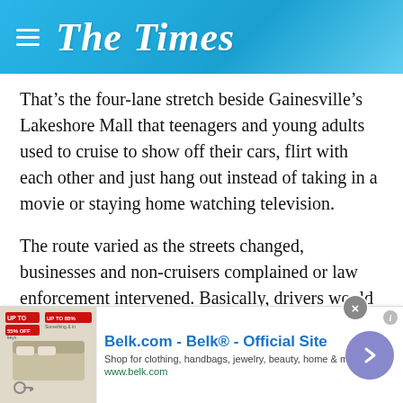The Times
That’s the four-lane stretch beside Gainesville’s Lakeshore Mall that teenagers and young adults used to cruise to show off their cars, flirt with each other and just hang out instead of taking in a movie or staying home watching television.
The route varied as the streets changed, businesses and non-cruisers complained or law enforcement intervened. Basically, drivers would find a way to cruise the street and turn around and follow the same route time after time. They’d park a while in groups, chatting, meeting cruisers from outside Gainesville and Hall County. Then they’d start up again and retrace their route before finally heading for home.
[Figure (other): Advertisement for Belk.com - Belk Official Site. Shows thumbnail of bedding/home goods, text: Shop for clothing, handbags, jewelry, beauty, home & more! www.belk.com]